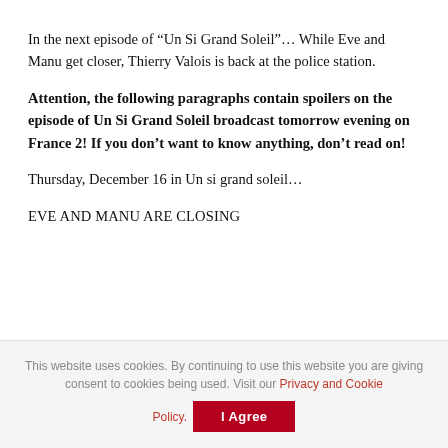In the next episode of “Un Si Grand Soleil”… While Eve and Manu get closer, Thierry Valois is back at the police station.
Attention, the following paragraphs contain spoilers on the episode of Un Si Grand Soleil broadcast tomorrow evening on France 2! If you don’t want to know anything, don’t read on!
Thursday, December 16 in Un si grand soleil…
EVE AND MANU ARE CLOSING
This website uses cookies. By continuing to use this website you are giving consent to cookies being used. Visit our Privacy and Cookie Policy.
I Agree